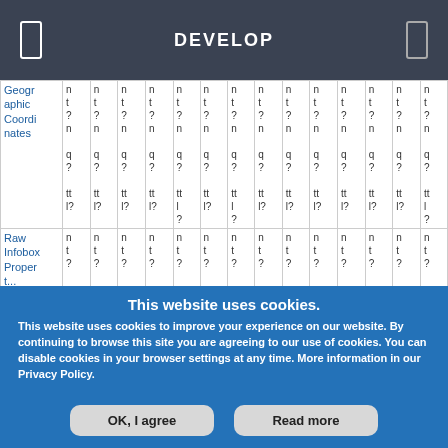DEVELOP
|  | col1 | col2 | col3 | col4 | col5 | col6 | col7 | col8 | col9 | col10 | col11 | col12 | col13 | col14 |
| --- | --- | --- | --- | --- | --- | --- | --- | --- | --- | --- | --- | --- | --- | --- |
| Geographic Coordinates | nt?
n
q?
tt
l? | nt?
n
q?
tt
l? | nt?
n
q?
tt
l? | nt?
n
q?
tt
l? | nt?
n
q?
tt
l
? | nt?
n
q?
tt
l? | nt?
n
q?
tt
l
? | nt?
n
q?
tt
l? | nt?
n
q?
tt
l? | nt?
n
q?
tt
l? | nt?
n
q?
tt
l? | nt?
n
q?
tt
l? | nt?
n
q?
tt
l? | nt?
n
q?
tt
l
? |
| Raw Infobox Proper ties | nt? | nt? | nt? | nt? | nt? | nt? | nt? | nt? | nt? | nt? | nt? | nt? | nt? | nt? |
This website uses cookies.
This website uses cookies to improve your experience on our website. By continuing to browse this site you are agreeing to our use of cookies. You can disable cookies in your browser settings at any time. More information in our Privacy Policy.
OK, I agree | Read more